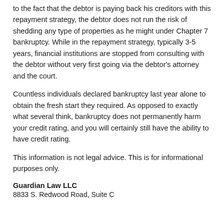to the fact that the debtor is paying back his creditors with this repayment strategy, the debtor does not run the risk of shedding any type of properties as he might under Chapter 7 bankruptcy. While in the repayment strategy, typically 3-5 years, financial institutions are stopped from consulting with the debtor without very first going via the debtor's attorney and the court.
Countless individuals declared bankruptcy last year alone to obtain the fresh start they required. As opposed to exactly what several think, bankruptcy does not permanently harm your credit rating, and you will certainly still have the ability to have credit rating.
This information is not legal advice. This is for informational purposes only.
Guardian Law LLC
8833 S. Redwood Road, Suite C